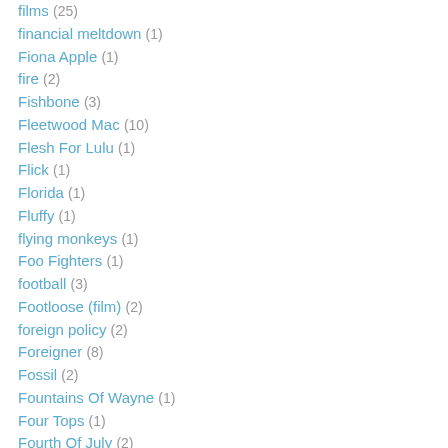films (25)
financial meltdown (1)
Fiona Apple (1)
fire (2)
Fishbone (3)
Fleetwood Mac (10)
Flesh For Lulu (1)
Flick (1)
Florida (1)
Fluffy (1)
flying monkeys (1)
Foo Fighters (1)
football (3)
Footloose (film) (2)
foreign policy (2)
Foreigner (8)
Fossil (2)
Fountains Of Wayne (1)
Four Tops (1)
Fourth Of July (2)